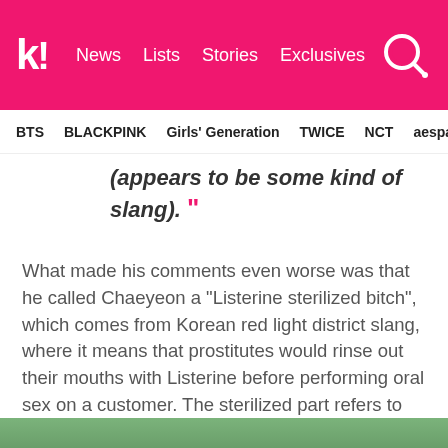k! News Lists Stories Exclusives
BTS BLACKPINK Girls' Generation TWICE NCT aespa
(appears to be some kind of slang).
What made his comments even worse was that he called Chaeyeon a "Listerine sterilized bitch", which comes from Korean red light district slang, where it means that prostitutes would rinse out their mouths with Listerine before performing oral sex on a customer. The sterilized part refers to how their mouths would be cleaned before performing their acts.
[Figure (photo): Partial image at the bottom of the page showing green foliage or background]